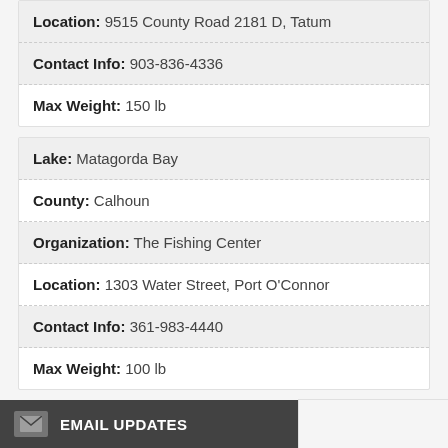Location: 9515 County Road 2181 D, Tatum
Contact Info: 903-836-4336
Max Weight: 150 lb
Lake: Matagorda Bay
County: Calhoun
Organization: The Fishing Center
Location: 1303 Water Street, Port O'Connor
Contact Info: 361-983-4440
Max Weight: 100 lb
EMAIL UPDATES